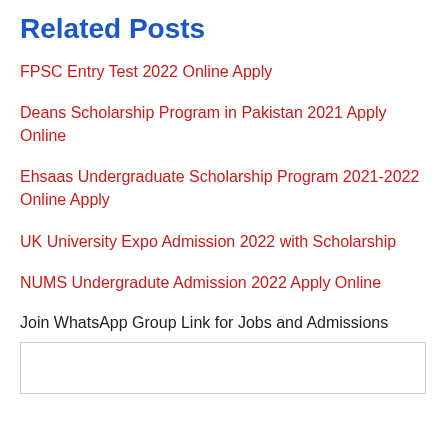Related Posts
FPSC Entry Test 2022 Online Apply
Deans Scholarship Program in Pakistan 2021 Apply Online
Ehsaas Undergraduate Scholarship Program 2021-2022 Online Apply
UK University Expo Admission 2022 with Scholarship
NUMS Undergradute Admission 2022 Apply Online
Join WhatsApp Group Link for Jobs and Admissions